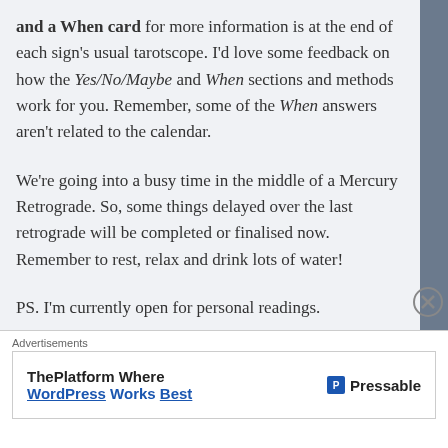and a When card for more information is at the end of each sign's usual tarotscope. I'd love some feedback on how the Yes/No/Maybe and When sections and methods work for you. Remember, some of the When answers aren't related to the calendar.
We're going into a busy time in the middle of a Mercury Retrograde. So, some things delayed over the last retrograde will be completed or finalised now. Remember to rest, relax and drink lots of water!
PS. I'm currently open for personal readings.
Advertisements — ThePlatform Where WordPress Works Best — Pressable